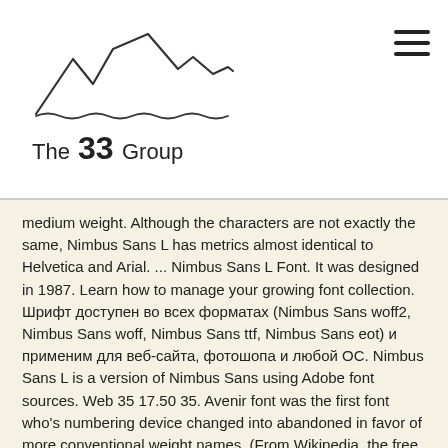[Figure (logo): The 33 Group logo with mountain silhouette line art above the text 'The 33 Group']
medium weight. Although the characters are not exactly the same, Nimbus Sans L has metrics almost identical to Helvetica and Arial. ... Nimbus Sans L Font. It was designed in 1987. Learn how to manage your growing font collection. Шрифт доступен во всех форматах (Nimbus Sans woff2, Nimbus Sans woff, Nimbus Sans ttf, Nimbus Sans eot) и применим для веб-сайта, фотошопа и любой ОС. Nimbus Sans L is a version of Nimbus Sans using Adobe font sources. Web 35 17.50 35. Avenir font was the first font who's numbering device changed into abandoned in favor of more conventional weight names. (From Wikipedia, the free encyclopedia) Nimbus Sans [...] It was designed in 1987. Nimbus Sans L is a version of Nimbus Sans using Adobe font sources. Sans Serif April 28, 2020. In all formats (Nimbus Sans CHS woff2, Nimbus Sans CHS woff, Nimbus Sans CHS ttf, Nimbus Sans ... Free download Nimbus Sans CHS for MacOS, Windows, Sketch, Figma, Photoshop and Web site. Buy Nimbus Sans Regular Extended desktop font from URW Type Foundry on Fonts.com. A subset of Nimbus Sans using Adobe font sources a version of Nimbus Sans using Adobe font